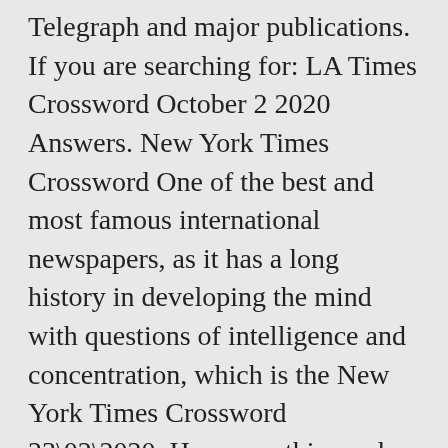Telegraph and major publications. If you are searching for: LA Times Crossword October 2 2020 Answers. New York Times Crossword One of the best and most famous international newspapers, as it has a long history in developing the mind with questions of intelligence and concentration, which is the New York Times Crossword 23\02\2020. However, this can be extremely challenging for beginners puzzle fans. Baking soda target crossword clue. Bruins star Phil to fans crossword clue Answers for BAKING-SODA-IN-THE-FRIDGE TARGET crossword clue. USA Today is one of the most read papers and itââs crossword one of the most popular but it also is very challenging so sometimes some